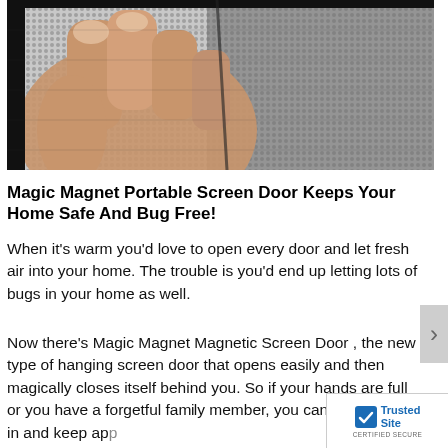[Figure (photo): Close-up photo of a hand holding or pulling open a black mesh magnetic screen door, showing the mesh texture and dark border/seam.]
Magic Magnet Portable Screen Door Keeps Your Home Safe And Bug Free!
When it's warm you'd love to open every door and let fresh air into your home. The trouble is you'd end up letting lots of bugs in your home as well.
Now there's Magic Magnet Magnetic Screen Door , the new type of hanging screen door that opens easily and then magically closes itself behind you. So if your hands are full or you have a forgetful family member, you can let fresh air in and keep app…